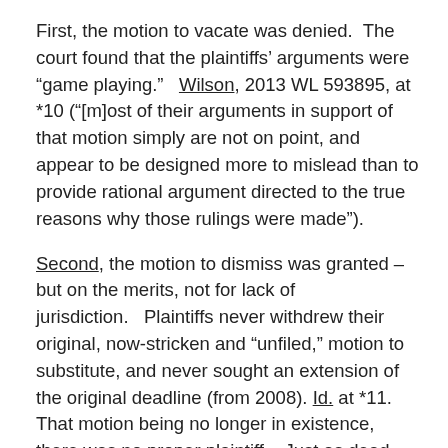First, the motion to vacate was denied.  The court found that the plaintiffs' arguments were "game playing."   Wilson, 2013 WL 593895, at *10 ("[m]ost of their arguments in support of that motion simply are not on point, and appear to be designed more to mislead than to provide rational argument directed to the true reasons why those rulings were made").
Second, the motion to dismiss was granted – but on the merits, not for lack of jurisdiction.   Plaintiffs never withdrew their original, now-stricken and "unfiled," motion to substitute, and never sought an extension of the original deadline (from 2008). Id. at *11. That motion being no longer in existence, there was no proper plaintiff.   Just as dead men tell no tales, they also file no lawsuits.